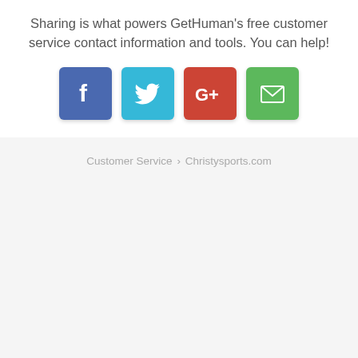Sharing is what powers GetHuman's free customer service contact information and tools. You can help!
[Figure (infographic): Four social sharing buttons: Facebook (blue), Twitter (cyan), Google+ (red), Email (green), each as rounded square icons with white symbols]
Customer Service › Christysports.com